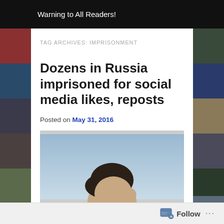Warning to All Readers!
TAG ARCHIVES: IMPRISONMENT
Dozens in Russia imprisoned for social media likes, reposts
Posted on May 31, 2016
[Figure (photo): Photo of a man in profile against a light blue sky background]